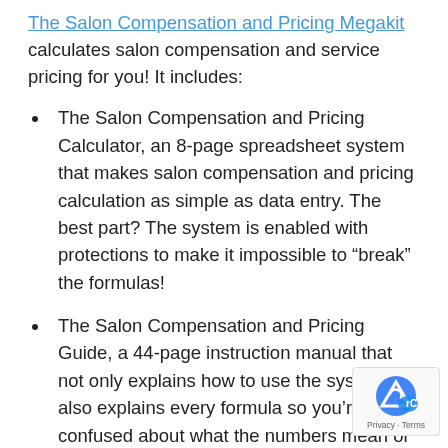The Salon Compensation and Pricing Megakit calculates salon compensation and service pricing for you! It includes:
The Salon Compensation and Pricing Calculator, an 8-page spreadsheet system that makes salon compensation and pricing calculation as simple as data entry. The best part? The system is enabled with protections to make it impossible to “break” the formulas!
The Salon Compensation and Pricing Guide, a 44-page instruction manual that not only explains how to use the system but also explains every formula so you’re never confused about what the numbers mean or where they came from.
A 9-page Employer Obligations Information Sheet t... you from making very common life-destroying mis...
Be Worth What You Charge, an 11-page checklist and...